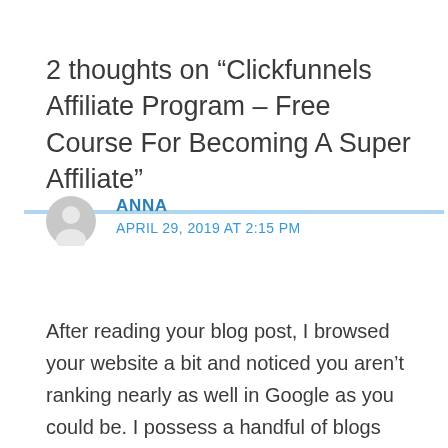2 thoughts on “Clickfunnels Affiliate Program – Free Course For Becoming A Super Affiliate”
ANNA
APRIL 29, 2019 AT 2:15 PM
After reading your blog post, I browsed your website a bit and noticed you aren’t ranking nearly as well in Google as you could be. I possess a handful of blogs myself, and I think you should